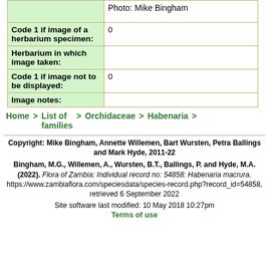| Field | Value |
| --- | --- |
|  | Photo: Mike Bingham |
| Code 1 if image of a herbarium specimen: | 0 |
| Herbarium in which image taken: |  |
| Code 1 if image not to be displayed: | 0 |
| Image notes: |  |
Home > List of families > Orchidaceae > Habenaria >
Copyright: Mike Bingham, Annette Willemen, Bart Wursten, Petra Ballings and Mark Hyde, 2011-22
Bingham, M.G., Willemen, A., Wursten, B.T., Ballings, P. and Hyde, M.A. (2022). Flora of Zambia: Individual record no: 54858: Habenaria macrura. https://www.zambiaflora.com/speciesdata/species-record.php?record_id=54858, retrieved 6 September 2022
Site software last modified: 10 May 2018 10:27pm
Terms of use